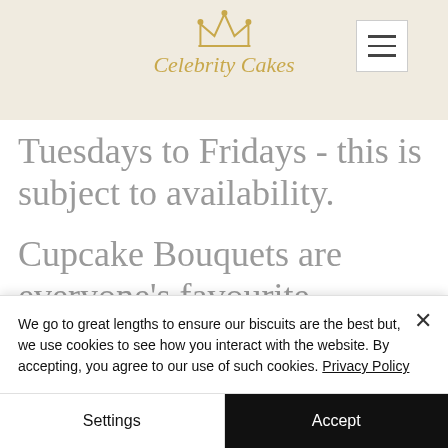[Figure (logo): Celebrity Cakes logo with decorative crown above italic script text]
Tuesdays to Fridays - this is subject to availability.
Cupcake Bouquets are everyone's favourite.
We go to great lengths to ensure our biscuits are the best but, we use cookies to see how you interact with the website. By accepting, you agree to our use of such cookies. Privacy Policy
Settings
Accept